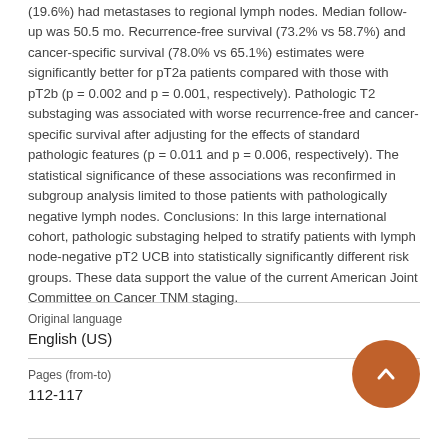(19.6%) had metastases to regional lymph nodes. Median follow-up was 50.5 mo. Recurrence-free survival (73.2% vs 58.7%) and cancer-specific survival (78.0% vs 65.1%) estimates were significantly better for pT2a patients compared with those with pT2b (p = 0.002 and p = 0.001, respectively). Pathologic T2 substaging was associated with worse recurrence-free and cancer-specific survival after adjusting for the effects of standard pathologic features (p = 0.011 and p = 0.006, respectively). The statistical significance of these associations was reconfirmed in subgroup analysis limited to those patients with pathologically negative lymph nodes. Conclusions: In this large international cohort, pathologic substaging helped to stratify patients with lymph node-negative pT2 UCB into statistically significantly different risk groups. These data support the value of the current American Joint Committee on Cancer TNM staging.
| Original language |  |
| --- | --- |
| English (US) |  |
| Pages (from-to) |  |
| 112-117 |  |